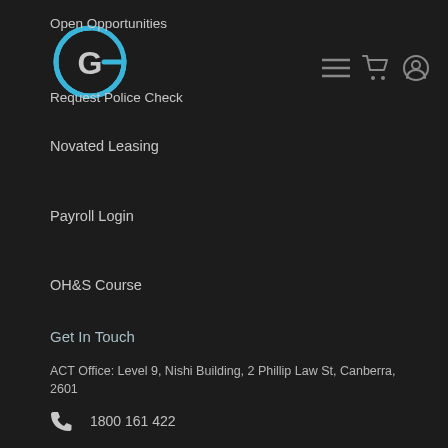[Figure (logo): Merlins Group logo - circular G shape in blue/cyan on dark background]
Open Opportunities
Request Police Check
Novated Leasing
Payroll Login
OH&S Course
Get In Touch
ACT Office: Level 9, Nishi Building, 2 Phillip Law St, Canberra, 2601
1800 161 422
support@merlinsgroup.com.au